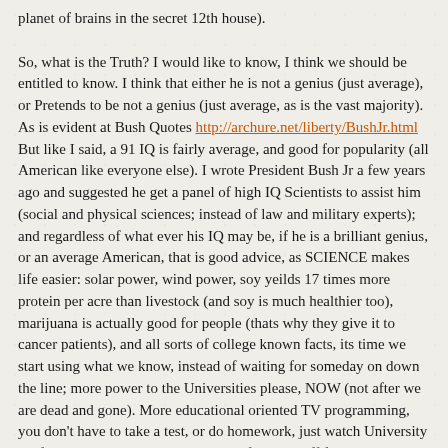planet of brains in the secret 12th house).

So, what is the Truth? I would like to know, I think we should be entitled to know. I think that either he is not a genius (just average), or Pretends to be not a genius (just average, as is the vast majority). As is evident at Bush Quotes http://archure.net/liberty/BushJr.html But like I said, a 91 IQ is fairly average, and good for popularity (all American like everyone else). I wrote President Bush Jr a few years ago and suggested he get a panel of high IQ Scientists to assist him (social and physical sciences; instead of law and military experts); and regardless of what ever his IQ may be, if he is a brilliant genius, or an average American, that is good advice, as SCIENCE makes life easier: solar power, wind power, soy yeilds 17 times more protein per acre than livestock (and soy is much healthier too), marijuana is actually good for people (thats why they give it to cancer patients), and all sorts of college known facts, its time we start using what we know, instead of waiting for someday on down the line; more power to the Universities please, NOW (not after we are dead and gone). More educational oriented TV programming, you don't have to take a test, or do homework, just watch University Professors speak the Truth; which is often way off from assumption, I used to assume all sorts of things everyone else does, then found out the shocking truth in college, they can put it all on TV.